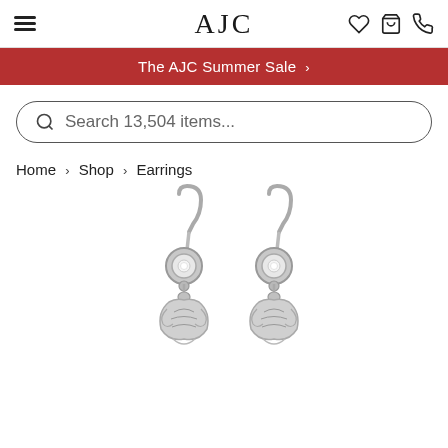AJC
The AJC Summer Sale >
Search 13,504 items...
Home > Shop > Earrings
[Figure (photo): A pair of silver/white gold drop earrings with round diamond bezels at the top on shepherd hook wires, with ornate engraved pendant drops below, photographed on a white background.]